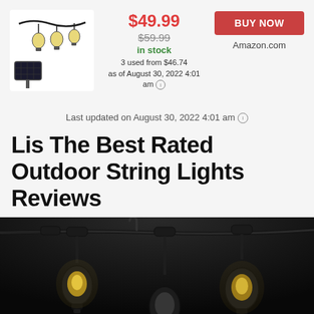[Figure (photo): Product photo of solar-powered outdoor string lights with Edison bulbs on a white background]
$49.99
$59.99
in stock
3 used from $46.74
as of August 30, 2022 4:01 am
BUY NOW
Amazon.com
Last updated on August 30, 2022 4:01 am
Lis The Best Rated Outdoor String Lights Reviews
[Figure (photo): Close-up photo of outdoor string lights with black cable and Edison-style bulbs hanging down, black background]